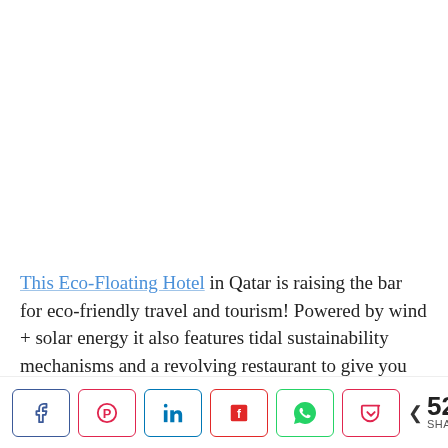This Eco-Floating Hotel in Qatar is raising the bar for eco-friendly travel and tourism! Powered by wind + solar energy it also features tidal sustainability mechanisms and a revolving restaurant to give you ALL the best views. Designed by Hayri Atak Architectural Design Studio (HAADS), the hotel would span over 35,000 sq m (376,000 sq ft) and house 150 rooms. The hotel...
Share buttons: Facebook, Pinterest, LinkedIn, Flipboard, WhatsApp, Pocket. 524 SHARES